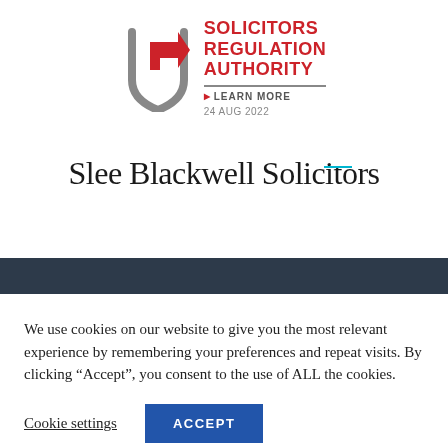[Figure (logo): Solicitors Regulation Authority logo with grey shield/arrow icon and red text reading SOLICITORS REGULATION AUTHORITY, with LEARN MORE link and date 24 AUG 2022]
[Figure (logo): Slee Blackwell Solicitors firm logo in serif font with cyan underline accent on 'Solicitors']
We use cookies on our website to give you the most relevant experience by remembering your preferences and repeat visits. By clicking “Accept”, you consent to the use of ALL the cookies.
Cookie settings
ACCEPT